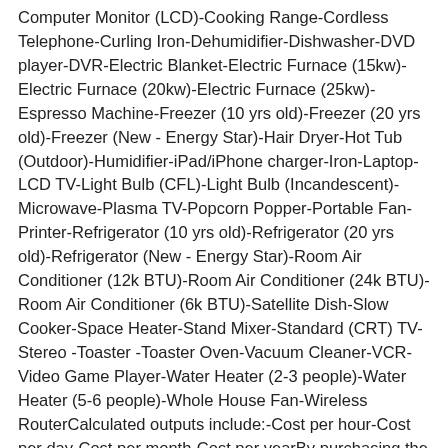Computer Monitor (LCD)-Cooking Range-Cordless Telephone-Curling Iron-Dehumidifier-Dishwasher-DVD player-DVR-Electric Blanket-Electric Furnace (15kw)-Electric Furnace (20kw)-Electric Furnace (25kw)-Espresso Machine-Freezer (10 yrs old)-Freezer (20 yrs old)-Freezer (New - Energy Star)-Hair Dryer-Hot Tub (Outdoor)-Humidifier-iPad/iPhone charger-Iron-Laptop-LCD TV-Light Bulb (CFL)-Light Bulb (Incandescent)-Microwave-Plasma TV-Popcorn Popper-Portable Fan-Printer-Refrigerator (10 yrs old)-Refrigerator (20 yrs old)-Refrigerator (New - Energy Star)-Room Air Conditioner (12k BTU)-Room Air Conditioner (24k BTU)-Room Air Conditioner (6k BTU)-Satellite Dish-Slow Cooker-Space Heater-Stand Mixer-Standard (CRT) TV-Stereo -Toaster -Toaster Oven-Vacuum Cleaner-VCR-Video Game Player-Water Heater (2-3 people)-Water Heater (5-6 people)-Whole House Fan-Wireless RouterCalculated outputs include:-Cost per hour-Cost per day-Cost per month-Cost per yearBy purchasing the full version (Energy Calc Pro), users are allowed to customize cost/KWh, save